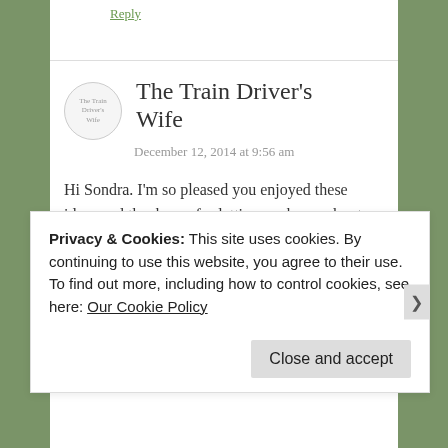Reply
The Train Driver's Wife
December 12, 2014 at 9:56 am
Hi Sondra. I'm so pleased you enjoyed these ideas and thank you for letting me know about that broken link! I'm not sure why it isnt working but I'm working on it!
★ Like
Privacy & Cookies: This site uses cookies. By continuing to use this website, you agree to their use.
To find out more, including how to control cookies, see here: Our Cookie Policy
Close and accept